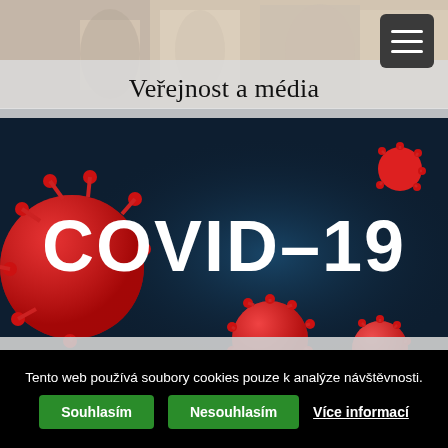[Figure (photo): Top photo strip showing people in a crowd/public setting, partially behind the Veřejnost a média banner]
Veřejnost a média
[Figure (photo): COVID-19 coronavirus illustration image showing red virus particles against a dark blue background with bold white text reading COVID-19]
Koronavirus
Tento web používá soubory cookies pouze k analýze návštěvnosti.
Souhlasím
Nesouhlasím
Více informací